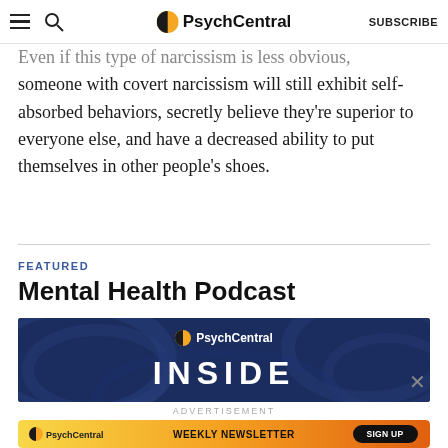PsychCentral | SUBSCRIBE
Even if this type of narcissism is less obvious, someone with covert narcissism will still exhibit self-absorbed behaviors, secretly believe they’re superior to everyone else, and have a decreased ability to put themselves in other people’s shoes.
FEATURED
Mental Health Podcast
[Figure (illustration): PsychCentral podcast banner with dark navy blue background, abstract swirl patterns, PsychCentral logo and the word INSIDE in large white letters]
ADVERTISEMENT
[Figure (illustration): PsychCentral Weekly Newsletter sign-up banner with orange/yellow gradient background, PsychCentral logo, WEEKLY NEWSLETTER text, and SIGN UP button]